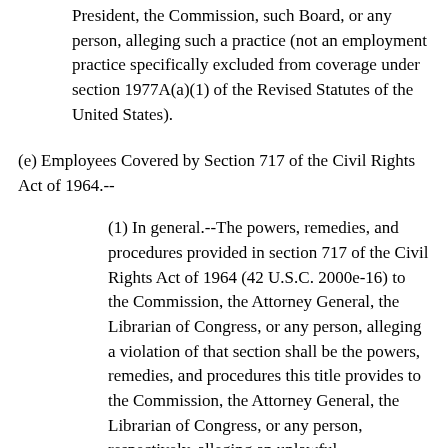President, the Commission, such Board, or any person, alleging such a practice (not an employment practice specifically excluded from coverage under section 1977A(a)(1) of the Revised Statutes of the United States).
(e) Employees Covered by Section 717 of the Civil Rights Act of 1964.--
(1) In general.--The powers, remedies, and procedures provided in section 717 of the Civil Rights Act of 1964 (42 U.S.C. 2000e-16) to the Commission, the Attorney General, the Librarian of Congress, or any person, alleging a violation of that section shall be the powers, remedies, and procedures this title provides to the Commission, the Attorney General, the Librarian of Congress, or any person, respectively, alleging an unlawful